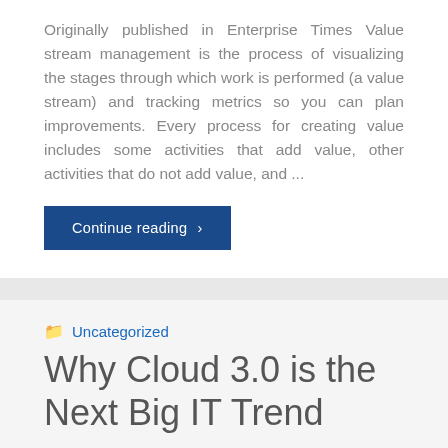Originally published in Enterprise Times Value stream management is the process of visualizing the stages through which work is performed (a value stream) and tracking metrics so you can plan improvements. Every process for creating value includes some activities that add value, other activities that do not add value, and ...
Continue reading ›
Uncategorized
Why Cloud 3.0 is the Next Big IT Trend